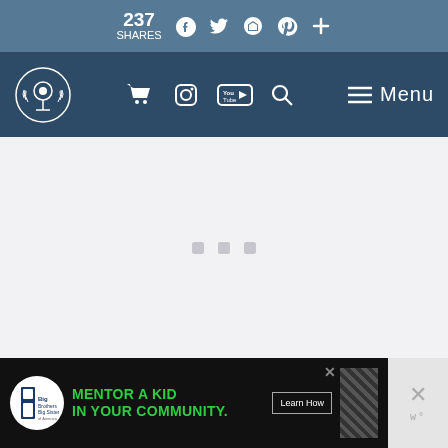237 SHARES — social share bar with Facebook, Twitter, Email, Pinterest, More icons
[Figure (screenshot): Website navigation bar with logo (golf/laurel wreath emblem), shopping cart, Instagram, YouTube, search icons, and Menu button on dark blue background]
[Figure (screenshot): Content loading area with three small gray placeholder squares indicating loading content]
[Figure (screenshot): Advertisement banner: Big Brothers Big Sisters logo, 'MENTOR A KID IN YOUR COMMUNITY.' text in green, Learn How button, diagonal stripe graphic, close button]